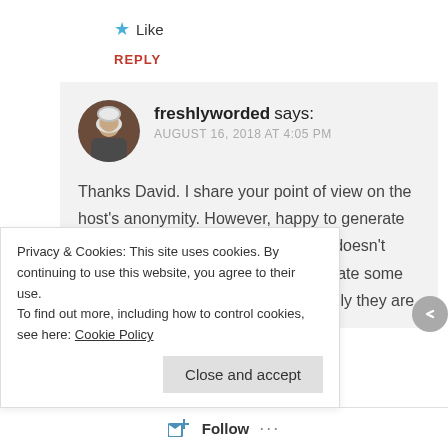★ Like
REPLY
freshlyworded says:
AUGUST 16, 2018 AT 4:05 PM

Thanks David. I share your point of view on the host's anonymity. However, happy to generate debate and cop some flack. It really doesn't bother me. It's amazing how passionate some people are about such things. Possibly they are
Privacy & Cookies: This site uses cookies. By continuing to use this website, you agree to their use.
To find out more, including how to control cookies, see here: Cookie Policy
Close and accept
Follow